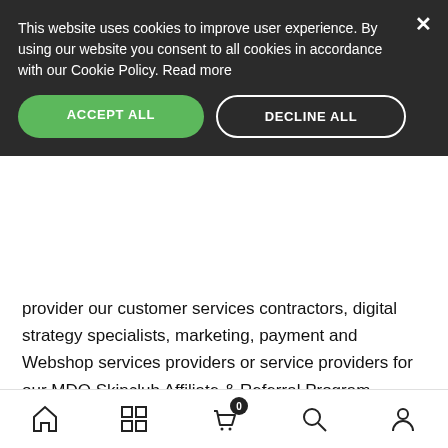This website uses cookies to improve user experience. By using our website you consent to all cookies in accordance with our Cookie Policy. Read more
provider our customer services contractors, digital strategy specialists, marketing, payment and Webshop services providers or service providers for our MDO Skinclub Affiliate & Referral Program, Subscribe & Save Program, Live Avatar and Skin Analyzer are given access to the user's personal data.
The processors are contractually obliged to put in place appropriate technical and organizational measures to protect and secure personal data and to process the